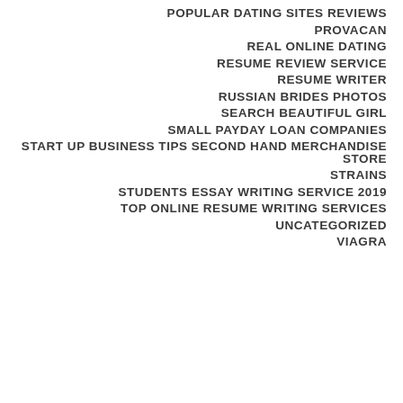POPULAR DATING SITES REVIEWS
PROVACAN
REAL ONLINE DATING
RESUME REVIEW SERVICE
RESUME WRITER
RUSSIAN BRIDES PHOTOS
SEARCH BEAUTIFUL GIRL
SMALL PAYDAY LOAN COMPANIES
START UP BUSINESS TIPS SECOND HAND MERCHANDISE STORE
STRAINS
STUDENTS ESSAY WRITING SERVICE 2019
TOP ONLINE RESUME WRITING SERVICES
UNCATEGORIZED
VIAGRA